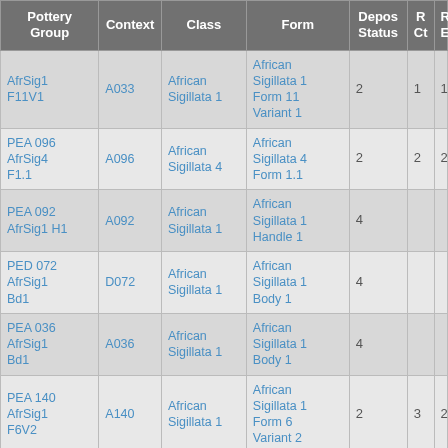| Pottery Group | Context | Class | Form | Depos Status | R Ct | R EV |
| --- | --- | --- | --- | --- | --- | --- |
| AfrSig1 F11V1 | A033 | African Sigillata 1 | African Sigillata 1 Form 11 Variant 1 | 2 | 1 | 1 |
| PEA 096 AfrSig4 F1.1 | A096 | African Sigillata 4 | African Sigillata 4 Form 1.1 | 2 | 2 | 2 |
| PEA 092 AfrSig1 H1 | A092 | African Sigillata 1 | African Sigillata 1 Handle 1 | 4 |  |  |
| PED 072 AfrSig1 Bd1 | D072 | African Sigillata 1 | African Sigillata 1 Body 1 | 4 |  |  |
| PEA 036 AfrSig1 Bd1 | A036 | African Sigillata 1 | African Sigillata 1 Body 1 | 4 |  |  |
| PEA 140 AfrSig1 F6V2 | A140 | African Sigillata 1 | African Sigillata 1 Form 6 Variant 2 | 2 | 3 | 2 |